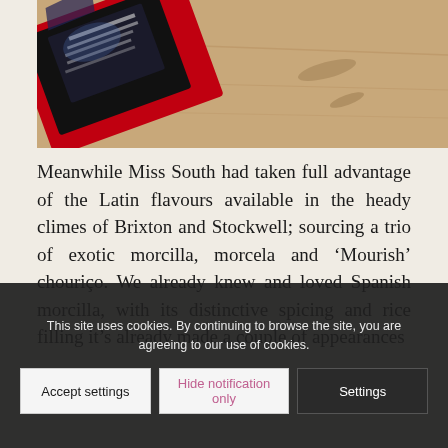[Figure (photo): A photo of a product package (appears to be a snack or food item with dark packaging and red box) lying on a light wooden table surface, shot from an angle.]
Meanwhile Miss South had taken full advantage of the Latin flavours available in the heady climes of Brixton and Stockwell; sourcing a trio of exotic morcilla, morcela and ‘Mourish’ chouriço. We already knew and loved Spanish morcilla, with its distinctive spicing and rice filling it's already made a couple of appearances on here.
This site uses cookies. By continuing to browse the site, you are agreeing to our use of cookies.